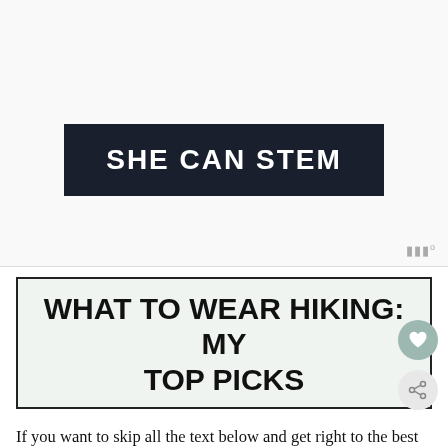[Figure (logo): SHE CAN STEM logo — white bold uppercase text on dark navy/charcoal background banner]
WHAT TO WEAR HIKING: MY TOP PICKS
If you want to skip all the text below and get right to the best hiking clothing, here is what I recommend. Now, this is the best of the best, so if it's out of your price range keep reading for substitutes and places